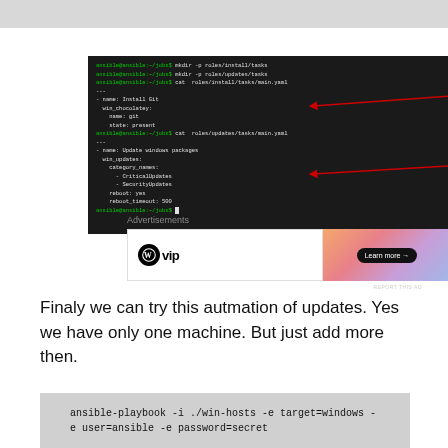[Figure (screenshot): Terminal window showing ansible commands: mkdir for roles/install/tasks and roles/updates/tasks, cat of roles/install/tasks/main.yaml showing Install Git task with win_chocolatey, and cat of roles/updates/tasks/main.yaml showing Update windows packages task with win_updates including CriticalUpdates and SecurityUpdates, reboot yes, reboot_timeout 500. Red arrows point to the two cat command outputs.]
[Figure (other): WordPress VIP advertisement banner with logo on left and gradient background on right with 'Learn more' button.]
Finaly we can try this autmation of updates. Yes we have only one machine. But just add more then.
[Figure (screenshot): Code block showing: ansible-playbook -i ./win-hosts -e target=windows -e user=ansible -e password=secret]